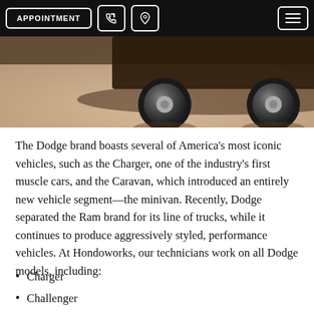APPOINTMENT [phone icon] [location icon] [menu icon]
[Figure (photo): Close-up sepia/brown toned photo of the underside and wheel of a car on a gravel surface]
The Dodge brand boasts several of America's most iconic vehicles, such as the Charger, one of the industry's first muscle cars, and the Caravan, which introduced an entirely new vehicle segment—the minivan. Recently, Dodge separated the Ram brand for its line of trucks, while it continues to produce aggressively styled, performance vehicles. At Hondoworks, our technicians work on all Dodge models, including:
Charger
Challenger
Dart
Viper
Journey